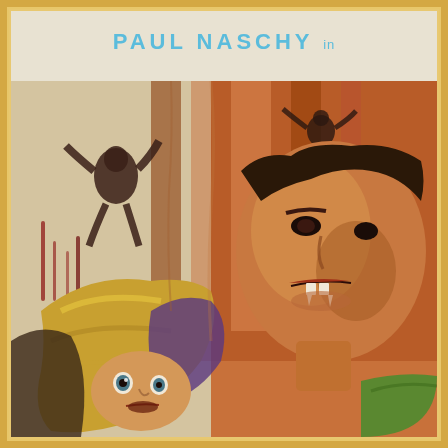PAUL NASCHY in
[Figure (illustration): Vintage horror movie poster illustration showing Paul Naschy as a vampire with fangs bared, dark dramatic brushwork painting style. Background shows silhouetted figures falling/fleeing against an orange-brown background. In the foreground a woman with blonde hair appears frightened, and the vampire looms behind her with a menacing expression showing fangs. The artwork has a 1970s Spanish horror film aesthetic with expressionistic paint strokes.]